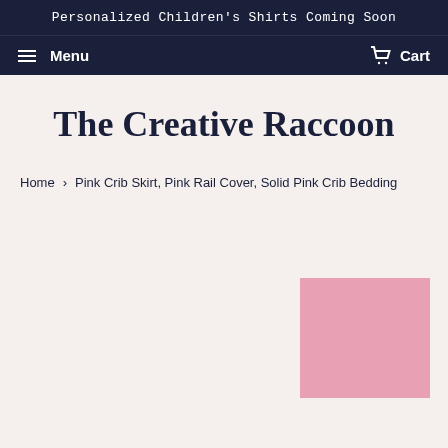Personalized Children's Shirts Coming Soon
Menu   Cart
The Creative Raccoon
Home › Pink Crib Skirt, Pink Rail Cover, Solid Pink Crib Bedding
[Figure (photo): Solid pink square fabric swatch shown in the bottom right of the page]